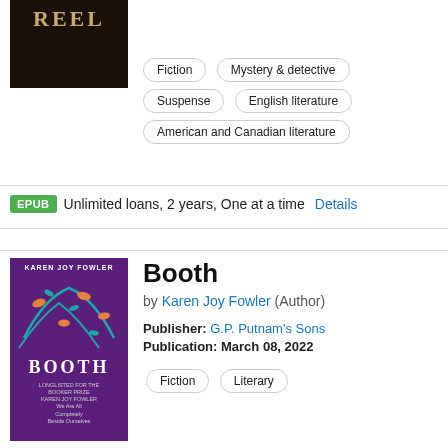[Figure (illustration): Book cover for a Joe Pickett novel titled REEL, dark background with author name.]
Fiction
Mystery & detective
Suspense
English literature
American and Canadian literature
EPUB  Unlimited loans, 2 years, One at a time  Details
[Figure (illustration): Book cover for Booth by Karen Joy Fowler, purple cover with teal birds and floral design.]
Booth
by Karen Joy Fowler (Author)
Publisher: G.P. Putnam's Sons
Publication: March 08, 2022
Fiction
Literary